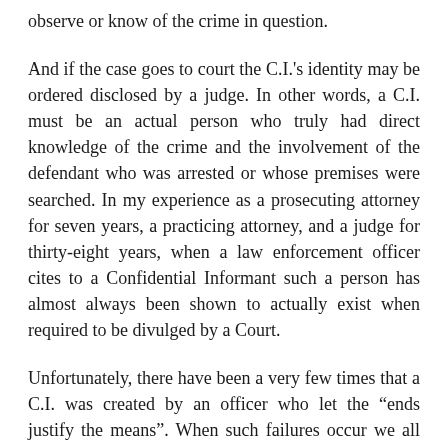observe or know of the crime in question.
And if the case goes to court the C.I.'s identity may be ordered disclosed by a judge. In other words, a C.I. must be an actual person who truly had direct knowledge of the crime and the involvement of the defendant who was arrested or whose premises were searched. In my experience as a prosecuting attorney for seven years, a practicing attorney, and a judge for thirty-eight years, when a law enforcement officer cites to a Confidential Informant such a person has almost always been shown to actually exist when required to be divulged by a Court.
Unfortunately, there have been a very few times that a C.I. was created by an officer who let the “ends justify the means”. When such failures occur we all lose because the system of justice is not just. Of course, other such abuses are not limited to and